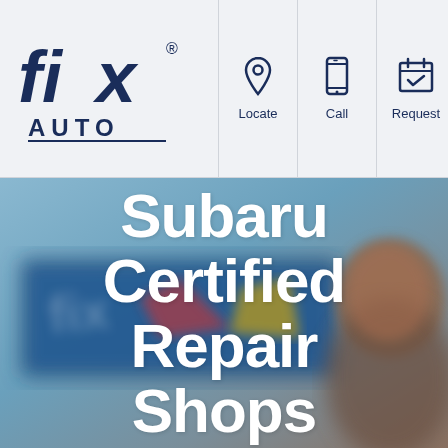[Figure (logo): Fix Auto logo — stylized 'fix' text with registered trademark, 'AUTO' below, in dark navy blue]
[Figure (screenshot): Navigation bar with Locate (pin icon), Call (phone icon), Request (calendar icon) buttons, and hamburger menu icon]
[Figure (photo): Hero image background: outdoor photo of Fix Auto shop sign (blue, red, yellow) with smiling man on right side, blue sky]
Subaru Certified Repair Shops